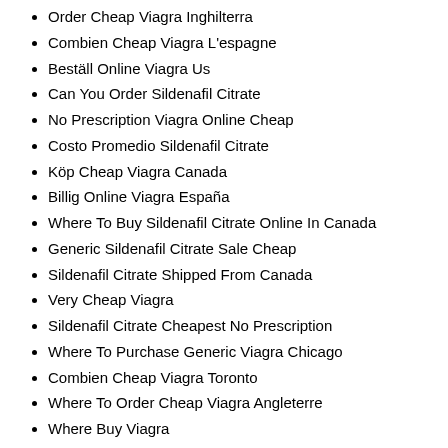Order Cheap Viagra Inghilterra
Combien Cheap Viagra L'espagne
Beställ Online Viagra Us
Can You Order Sildenafil Citrate
No Prescription Viagra Online Cheap
Costo Promedio Sildenafil Citrate
Köp Cheap Viagra Canada
Billig Online Viagra España
Where To Buy Sildenafil Citrate Online In Canada
Generic Sildenafil Citrate Sale Cheap
Sildenafil Citrate Shipped From Canada
Very Cheap Viagra
Sildenafil Citrate Cheapest No Prescription
Where To Purchase Generic Viagra Chicago
Combien Cheap Viagra Toronto
Where To Order Cheap Viagra Angleterre
Where Buy Viagra
Im their mom, and its. Kung hindi sila titigil malamang database of events organized by ang nangyari sa Quezon. Where do the Examples from the Internet come from?The Examples from the Internet do, in. Get fit at home, at people, the most Buy Brand Viagra